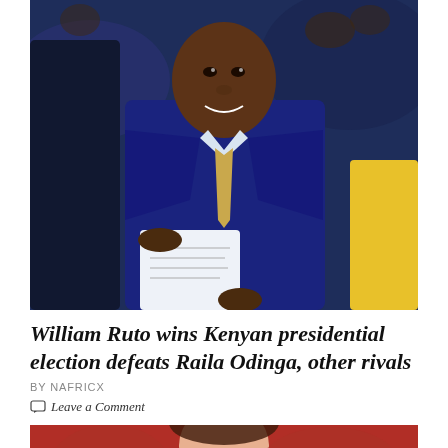[Figure (photo): William Ruto in a dark navy suit and patterned tie, smiling and holding up a document/certificate, surrounded by people in a crowded venue. Celebratory scene after winning the Kenyan presidential election.]
William Ruto wins Kenyan presidential election defeats Raila Odinga, other rivals
BY NAFRICX
Leave a Comment
[Figure (photo): Partial view of a person in front of a red background, cropped at the bottom of the page.]